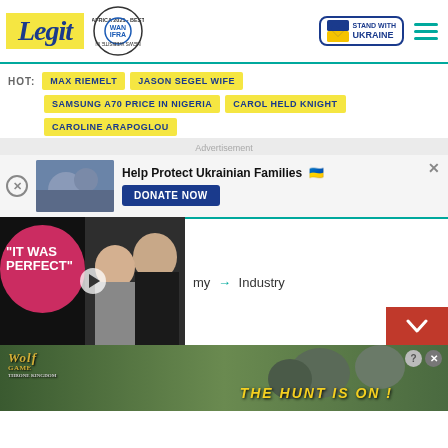Legit - Best News Website in Africa 2021 (WAN IFRA) - Stand With Ukraine
HOT: MAX RIEMELT | JASON SEGEL WIFE | SAMSUNG A70 PRICE IN NIGERIA | CAROL HELD KNIGHT | CAROLINE ARAPOGLOU
[Figure (screenshot): Advertisement banner: Help Protect Ukrainian Families with DONATE NOW button and Ukrainian heart flag]
[Figure (screenshot): Video overlay with 'IT WAS PERFECT' text, pink blob, play button, and couple photo]
my → Industry
[Figure (screenshot): Wolf Game ad: THE HUNT IS ON! with wolf images and game logo]